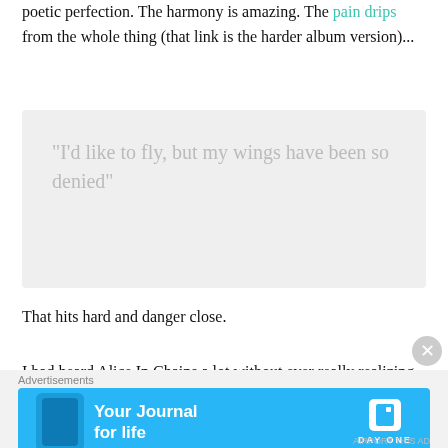poetic perfection. The harmony is amazing. The pain drips from the whole thing (that link is the harder album version)...
[Figure (other): Pull quote box with light gray background containing the text: "I'd like to fly, but my wings have been so denied"]
That hits hard and danger close.
I had heard Alice In Chains a lot without ever really realizing. Their sound was ubiquitous during the 90s,
[Figure (screenshot): Advertisement banner for Day One app - 'Your Journal for life' with blue background, phone illustration, and Day One logo]